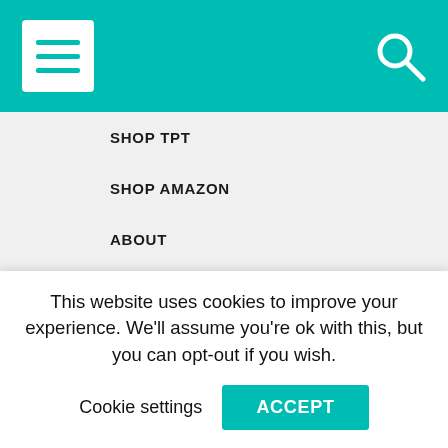Navigation menu with hamburger icon and search icon on teal background
SHOP TPT
SHOP AMAZON
ABOUT
CONTACT
PRIVACY POLICY
TERMS AND CONDITIONS
SEARCH (input field with green search button)
This website uses cookies to improve your experience. We'll assume you're ok with this, but you can opt-out if you wish.
Cookie settings | ACCEPT